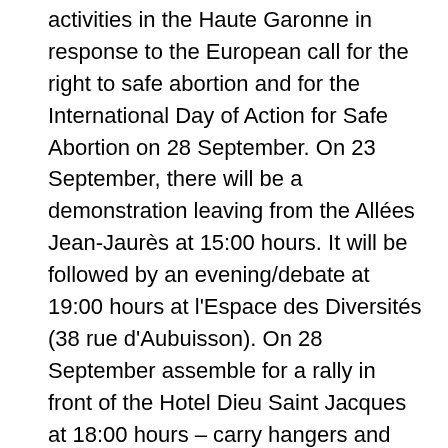activities in the Haute Garonne in response to the European call for the right to safe abortion and for the International Day of Action for Safe Abortion on 28 September. On 23 September, there will be a demonstration leaving from the Allées Jean-Jaurès at 15:00 hours. It will be followed by an evening/debate at 19:00 hours at l'Espace des Diversités (38 rue d'Aubuisson). On 28 September assemble for a rally in front of the Hotel Dieu Saint Jacques at 18:00 hours – carry hangers and knitting needles.
A European petition was launched online and will be handed over to the European Parliament on 28 September. We are mobilizing in solidarity with women all over Europe. Abortion is prohibited in Malta and under severely restricted in Ireland, Hungary and Poland. The right to abortion, even if it is legal, can be restricted by: the abuse of a conscience clause by